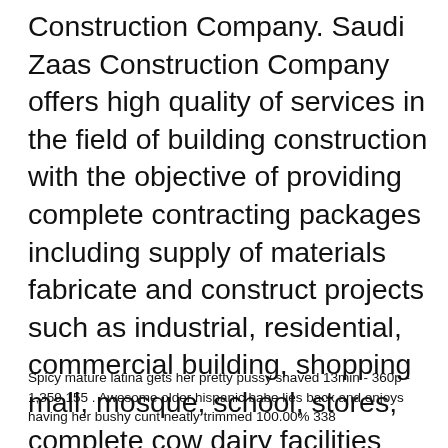Construction Company. Saudi Zaas Construction Company offers high quality of services in the field of building construction with the objective of providing complete contracting packages including supply of materials fabricate and construct projects such as industrial, residential, commercial building, shopping mall, mosque, school, stores, complete cow dairy facilities etc.
Spicy mature latina gets her pretty pussy shaved 13min - 360p - 1,359,155 . Awesome older hispanic babe lies back and enjoys having her bushy cunt neatly trimmed 100.00% 338